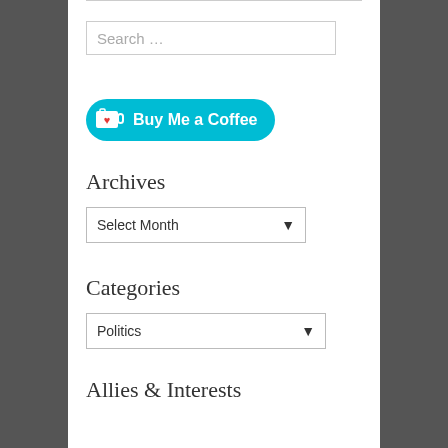Search …
[Figure (illustration): Buy Me a Coffee button with cyan/teal background, coffee cup icon with red heart, and white bold text]
Archives
Select Month (dropdown)
Categories
Politics (dropdown)
Allies & Interests